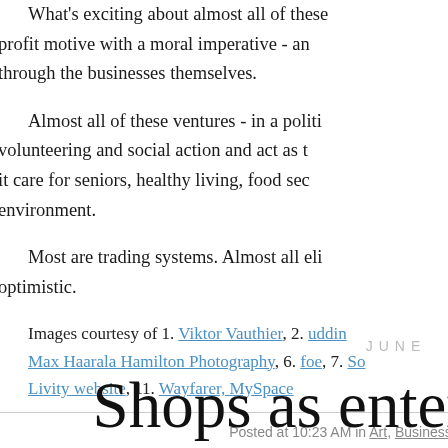What's exciting about almost all of these... profit motive with a moral imperative - an... through the businesses themselves.
Almost all of these ventures - in a politi... volunteering and social action and act as t... it care for seniors, healthy living, food sec... environment.
Most are trading systems. Almost all eli... optimistic.
Images courtesy of 1. Viktor Vauthier, 2. uddin... Max Haarala Hamilton Photography, 6. foe, 7. So... Livity website, 11. Wayfarer, MySpace
Posted at 10:23 AM in Art, Business, Cities, Con... Environment & Sustainability
JUNE
Shops as enter